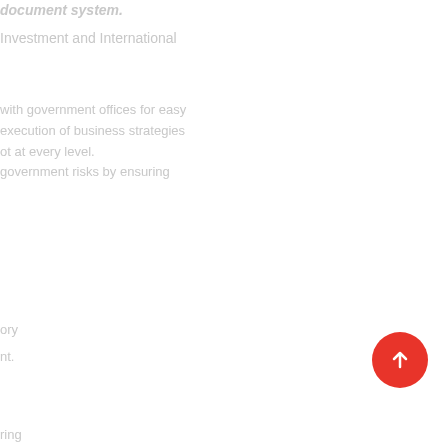document system.
Investment and International
with government offices for easy
execution of business strategies
ot at every level.
government risks by ensuring
ory
nt.
ring
[Figure (illustration): Red circular button with white upward arrow]